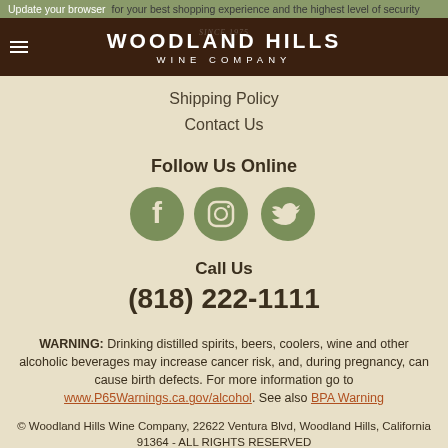Update your browser for your best shopping experience and the highest level of security
WOODLAND HILLS WINE COMPANY
Shipping Policy
Contact Us
Follow Us Online
[Figure (illustration): Three social media icons: Facebook, Instagram, Twitter in olive/green color]
Call Us
(818) 222-1111
WARNING: Drinking distilled spirits, beers, coolers, wine and other alcoholic beverages may increase cancer risk, and, during pregnancy, can cause birth defects. For more information go to www.P65Warnings.ca.gov/alcohol. See also BPA Warning
© Woodland Hills Wine Company, 22622 Ventura Blvd, Woodland Hills, California 91364 - ALL RIGHTS RESERVED